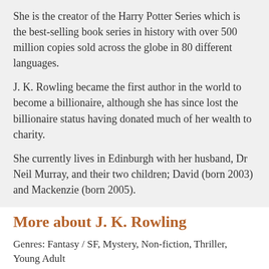She is the creator of the Harry Potter Series which is the best-selling book series in history with over 500 million copies sold across the globe in 80 different languages.
J. K. Rowling became the first author in the world to become a billionaire, although she has since lost the billionaire status having donated much of her wealth to charity.
She currently lives in Edinburgh with her husband, Dr Neil Murray, and their two children; David (born 2003) and Mackenzie (born 2005).
More about J. K. Rowling
Genres: Fantasy / SF, Mystery, Non-fiction, Thriller, Young Adult
Born: 1965
United Kingdom
Pseudonym: Robert Galbraith
Website: https://www.jkrowling.com